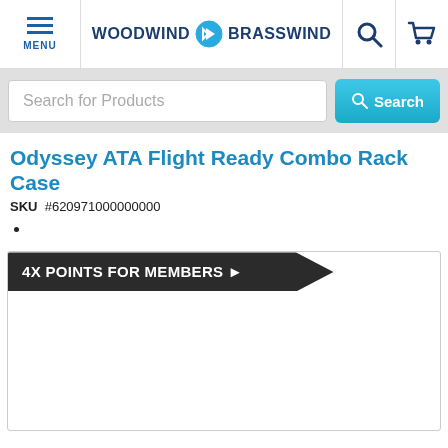MENU | WOODWIND & BRASSWIND
Search for Products
Odyssey ATA Flight Ready Combo Rack Case
SKU #620971000000000
4X POINTS FOR MEMBERS ▶